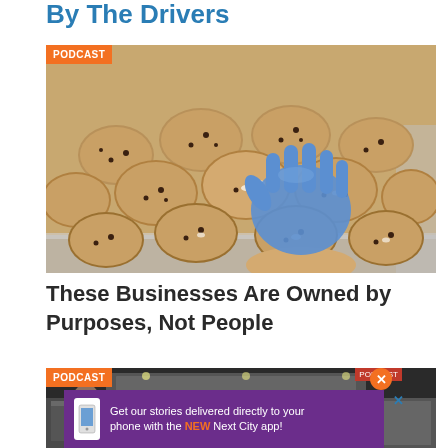By The Drivers
[Figure (photo): A blue-gloved hand picking up a chocolate chip cookie from a baking tray filled with many cookies. PODCAST badge overlay in top left.]
These Businesses Are Owned by Purposes, Not People
[Figure (photo): A restaurant kitchen interior with stainless steel equipment. PODCAST badge overlay in top left. Small red label in top right corner.]
Get our stories delivered directly to your phone with the NEW Next City app!